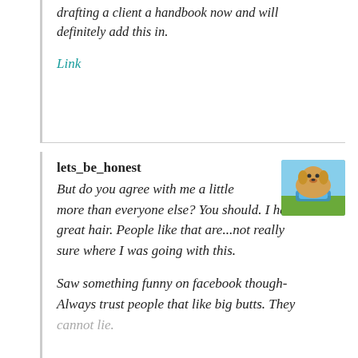drafting a client a handbook now and will definitely add this in.
Link
lets_be_honest
[Figure (photo): Small photo of a dog outdoors with a blue toy or bowl, green and blue background.]
But do you agree with me a little more than everyone else? You should. I have great hair. People like that are...not really sure where I was going with this.
Saw something funny on facebook though- Always trust people that like big butts. They cannot lie.